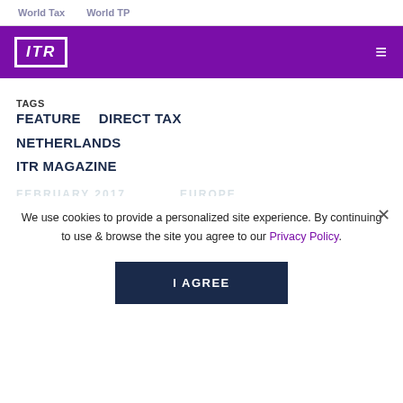World Tax   World TP
[Figure (logo): ITR logo in white on purple background with hamburger menu icon]
TAGS   FEATURE   DIRECT TAX   NETHERLANDS   ITR MAGAZINE
FEBRUARY 2017   EUROPE
We use cookies to provide a personalized site experience. By continuing to use & browse the site you agree to our Privacy Policy.
I AGREE
More from across the globe